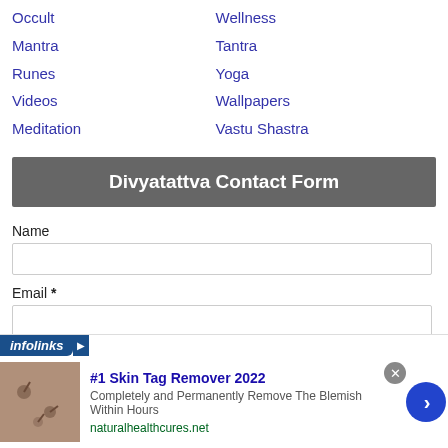Occult
Wellness
Mantra
Tantra
Runes
Yoga
Videos
Wallpapers
Meditation
Vastu Shastra
Divyatattva Contact Form
Name
Email *
[Figure (screenshot): Advertisement banner with infolinks label, showing a skin tag remover ad with image, title '#1 Skin Tag Remover 2022', description 'Completely and Permanently Remove The Blemish Within Hours', URL 'naturalhealthcures.net', close button, and a blue arrow button.]